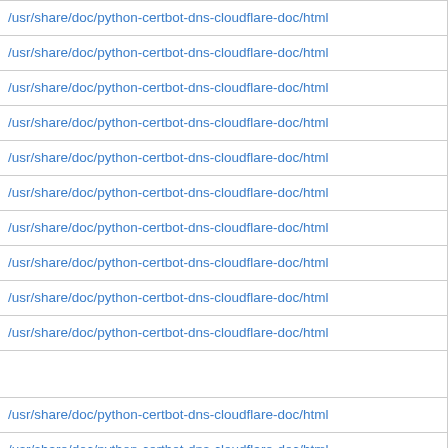| /usr/share/doc/python-certbot-dns-cloudflare-doc/html |
| /usr/share/doc/python-certbot-dns-cloudflare-doc/html |
| /usr/share/doc/python-certbot-dns-cloudflare-doc/html |
| /usr/share/doc/python-certbot-dns-cloudflare-doc/html |
| /usr/share/doc/python-certbot-dns-cloudflare-doc/html |
| /usr/share/doc/python-certbot-dns-cloudflare-doc/html |
| /usr/share/doc/python-certbot-dns-cloudflare-doc/html |
| /usr/share/doc/python-certbot-dns-cloudflare-doc/html |
| /usr/share/doc/python-certbot-dns-cloudflare-doc/html |
| /usr/share/doc/python-certbot-dns-cloudflare-doc/html |
|  |
| /usr/share/doc/python-certbot-dns-cloudflare-doc/html |
| /usr/share/doc/python-certbot-dns-cloudflare-doc/html |
| /usr/share/doc/python-certbot-dns-cloudflare-doc/html |
| /usr/share/doc/python-certbot-dns-cloudflare-doc/html |
| /usr/share/doc/python-certbot-dns-cloudflare-doc/html |
| /usr/share/doc/python-certbot-dns-cloudflare-doc/html |
| /usr/share/doc/python-certbot-dns-cloudflare-doc/html |
| /usr/share/doc/python-certbot-dns-cloudflare-doc/html |